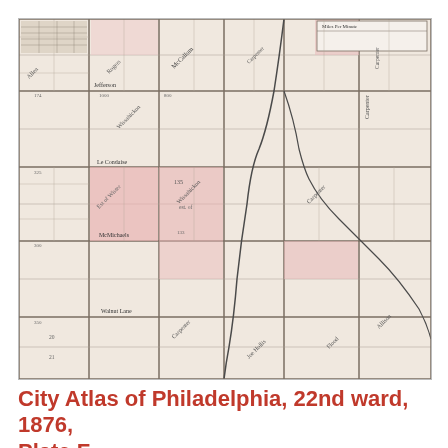[Figure (map): Historical city atlas map of Philadelphia 22nd Ward, 1876, Plate F. Shows a grid street layout with lot subdivisions, some pink-highlighted parcels, property owner names written diagonally, lot dimensions, and a curved line representing a creek or railroad through the map. Sparse development on the northern section with denser lot markings in the southern portion.]
City Atlas of Philadelphia, 22nd ward, 1876, Plate F
Maps
1876: G. M. Hopkins, City Atlas of Philadelphia, 22nd Ward, Vo...